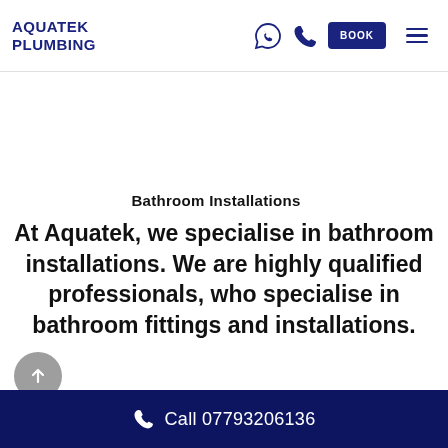AQUATEK PLUMBING
Bathroom Installations
At Aquatek, we specialise in bathroom installations. We are highly qualified professionals, who specialise in bathroom fittings and installations.
Call 07793206136